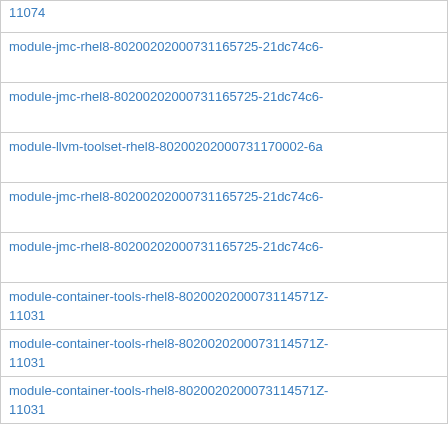| 11074 |
| module-jmc-rhel8-80200202000731165725-21dc74c6-... |
| module-jmc-rhel8-80200202000731165725-21dc74c6-... |
| module-llvm-toolset-rhel8-80200202000731170002-6a... |
| module-jmc-rhel8-80200202000731165725-21dc74c6-... |
| module-jmc-rhel8-80200202000731165725-21dc74c6-... |
| module-container-tools-rhel8-802002020007311457i2-...
11031 |
| module-container-tools-rhel8-802002020007311457i2-...
11031 |
| module-container-tools-rhel8-802002020007311457i2-...
11031 |